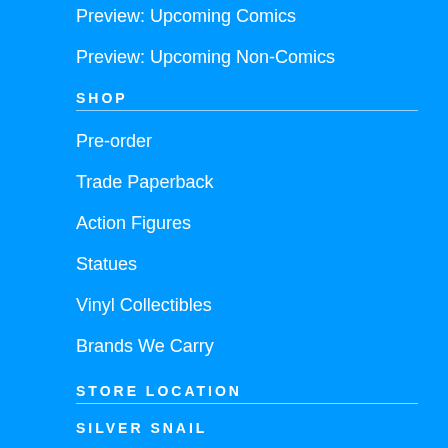Preview: Upcoming Comics
Preview: Upcoming Non-Comics
SHOP
Pre-order
Trade Paperback
Action Figures
Statues
Vinyl Collectibles
Brands We Carry
STORE LOCATION
SILVER SNAIL